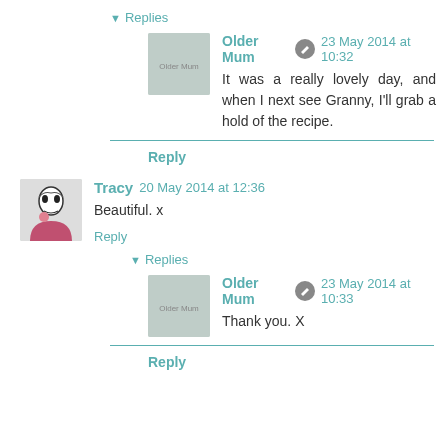▾ Replies
Older Mum ✏ 23 May 2014 at 10:32
It was a really lovely day, and when I next see Granny, I'll grab a hold of the recipe.
Reply
Tracy 20 May 2014 at 12:36
Beautiful. x
Reply
▾ Replies
Older Mum ✏ 23 May 2014 at 10:33
Thank you. X
Reply